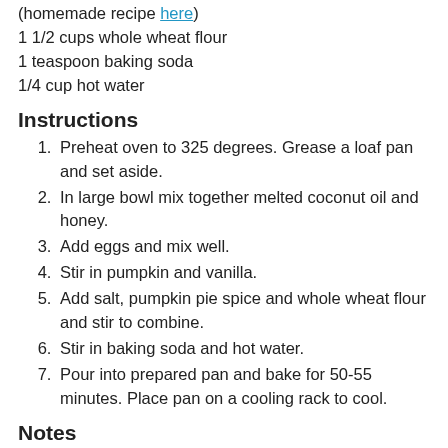(homemade recipe here)
1 1/2 cups whole wheat flour
1 teaspoon baking soda
1/4 cup hot water
Instructions
Preheat oven to 325 degrees. Grease a loaf pan and set aside.
In large bowl mix together melted coconut oil and honey.
Add eggs and mix well.
Stir in pumpkin and vanilla.
Add salt, pumpkin pie spice and whole wheat flour and stir to combine.
Stir in baking soda and hot water.
Pour into prepared pan and bake for 50-55 minutes. Place pan on a cooling rack to cool.
Notes